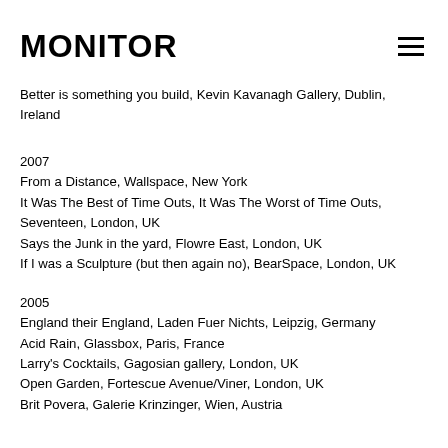MONITOR
Better is something you build, Kevin Kavanagh Gallery, Dublin, Ireland
2007
From a Distance, Wallspace, New York
It Was The Best of Time Outs, It Was The Worst of Time Outs, Seventeen, London, UK
Says the Junk in the yard, Flowre East, London, UK
If I was a Sculpture (but then again no), BearSpace, London, UK
2005
England their England, Laden Fuer Nichts, Leipzig, Germany
Acid Rain, Glassbox, Paris, France
Larry's Cocktails, Gagosian gallery, London, UK
Open Garden, Fortescue Avenue/Viner, London, UK
Brit Povera, Galerie Krinzinger, Wien, Austria